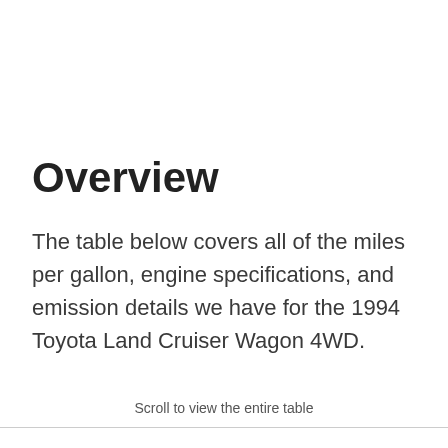Overview
The table below covers all of the miles per gallon, engine specifications, and emission details we have for the 1994 Toyota Land Cruiser Wagon 4WD.
Scroll to view the entire table